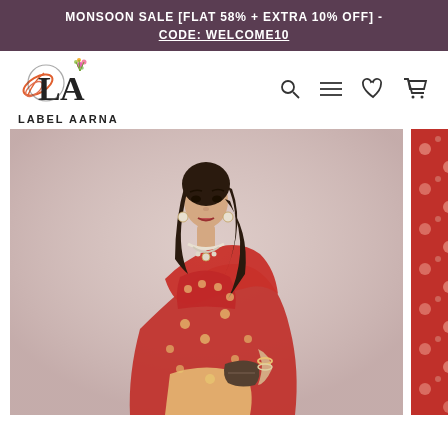MONSOON SALE [FLAT 58% + EXTRA 10% OFF] - CODE: WELCOME10
[Figure (logo): Label Aarna logo with stylized LA monogram and floral decoration, brand name LABEL AARNA below]
[Figure (other): Navigation icons: search, hamburger menu, heart/wishlist, shopping cart]
[Figure (photo): Woman wearing a red saree with gold embroidery and embellishments, jewelry, holding a clutch, pink-beige background]
[Figure (photo): Close-up of red fabric with floral embellishments and dot pattern]